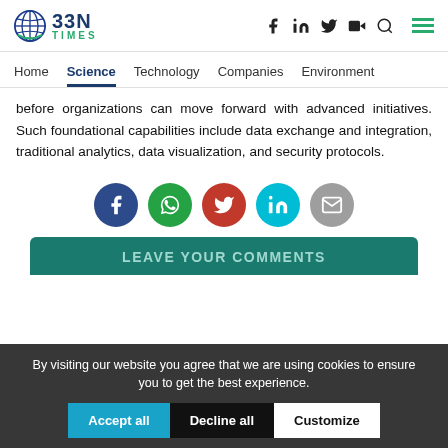BBN Times — Home | Science | Technology | Companies | Environment
before organizations can move forward with advanced initiatives. Such foundational capabilities include data exchange and integration, traditional analytics, data visualization, and security protocols.
[Figure (infographic): Social sharing icons row: Facebook (dark blue circle), WhatsApp (green circle), Twitter (red circle), LinkedIn (cyan circle), Email (gray circle)]
LEAVE YOUR COMMENTS
By visiting our website you agree that we are using cookies to ensure you to get the best experience.
Accept all | Decline all | Customize